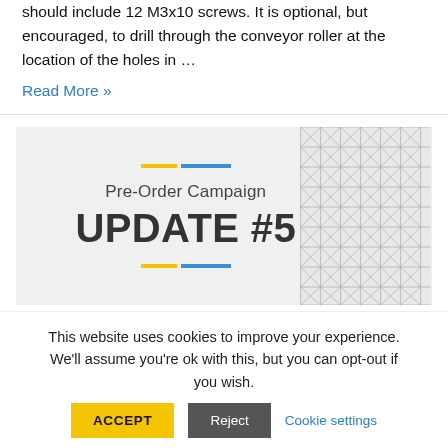should include 12 M3x10 screws. It is optional, but encouraged, to drill through the conveyor roller at the location of the holes in …
Read More »
[Figure (infographic): Pre-Order Campaign UPDATE #5 banner with yellow and blue decorative lines and triangle pattern on the right side]
This website uses cookies to improve your experience. We'll assume you're ok with this, but you can opt-out if you wish.
ACCEPT  Reject  Cookie settings